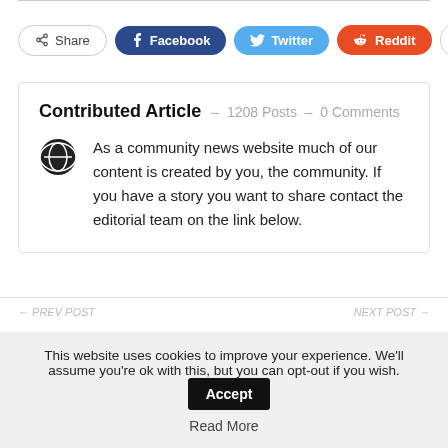[Figure (infographic): Social share buttons row: Share, Facebook, Twitter, Reddit, plus button]
Contributed Article - 1208 Posts - 0 Comments
As a community news website much of our content is created by you, the community. If you have a story you want to share contact the editorial team on the link below.
This website uses cookies to improve your experience. We'll assume you're ok with this, but you can opt-out if you wish. Accept
Read More